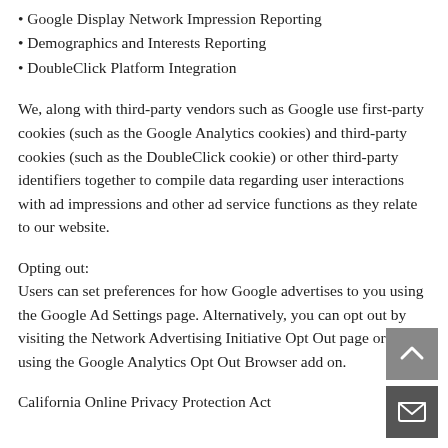• Google Display Network Impression Reporting
• Demographics and Interests Reporting
• DoubleClick Platform Integration
We, along with third-party vendors such as Google use first-party cookies (such as the Google Analytics cookies) and third-party cookies (such as the DoubleClick cookie) or other third-party identifiers together to compile data regarding user interactions with ad impressions and other ad service functions as they relate to our website.
Opting out:
Users can set preferences for how Google advertises to you using the Google Ad Settings page. Alternatively, you can opt out by visiting the Network Advertising Initiative Opt Out page or by using the Google Analytics Opt Out Browser add on.
California Online Privacy Protection Act